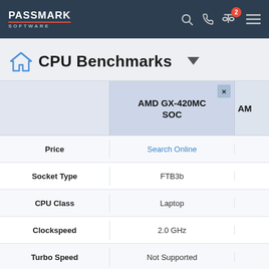PassMark Software
CPU Benchmarks
|  | AMD GX-420MC SOC | AM... |
| --- | --- | --- |
| Price | Search Online |  |
| Socket Type | FTB3b |  |
| CPU Class | Laptop |  |
| Clockspeed | 2.0 GHz |  |
| Turbo Speed | Not Supported |  |
| # of Physical Cores | 4 (Threads: 4) | 4 (in... |
| Max TDP | 17.5W |  |